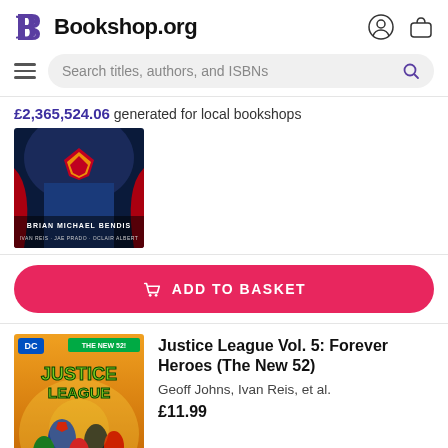Bookshop.org
Search titles, authors, and ISBNs
£2,365,524.06 generated for local bookshops
[Figure (photo): Book cover showing Superman chest with Brian Michael Bendis author credit]
ADD TO BASKET
[Figure (photo): Justice League comic book cover with heroes]
Justice League Vol. 5: Forever Heroes (The New 52)
Geoff Johns, Ivan Reis, et al.
£11.99